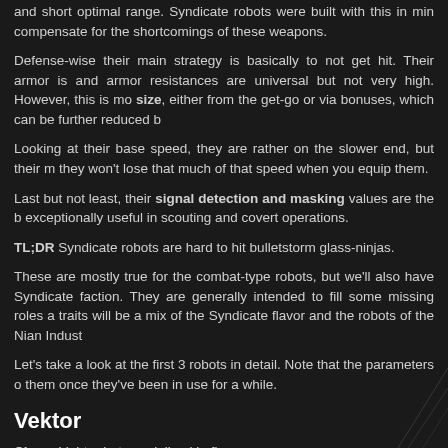and short optimal range. Syndicate robots were built with this in mind to compensate for the shortcomings of these weapons.
Defense-wise their main strategy is basically to not get hit. Their armor is and armor resistances are universal but not very high. However, this is more size, either from the get-go or via bonuses, which can be further reduced b
Looking at their base speed, they are rather on the slower end, but their m they won't lose that much of that speed when you equip them.
Last but not least, their signal detection and masking values are the b exceptionally useful in scouting and covert operations.
TL;DR Syndicate robots are hard to hit bulletstorm glass-ninjas.
These are mostly true for the combat-type robots, but we'll also have Syndicate faction. They are generally intended to fill some missing roles a traits will be a mix of the Syndicate flavor and the robots of the Nian Indust
Let's take a look at the first 3 robots in detail. Note that the parameters o them once they've been in use for a while.
Vektor
Class: Light robot specialized in firearms
"The smallest member of our hybrid-technology fleet of robots. Its ar weaker than the average, but its small size makes up for it, resulting in a h